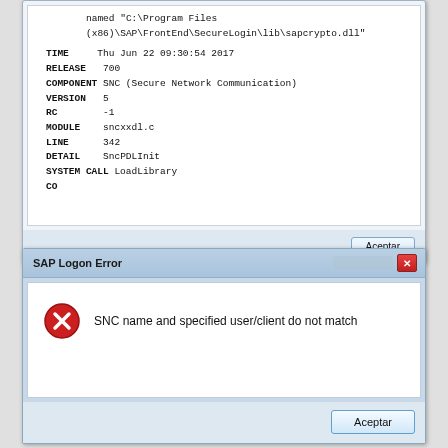[Figure (screenshot): Top portion of a Windows dialog box showing SAP error details with fields: TIME, RELEASE, COMPONENT, VERSION, RC, MODULE, LINE, DETAIL, SYSTEM CALL, CO. Path shown: named C:\Program Files (x86)\SAP\FrontEnd\SecureLogin\lib\sapcrypto.dll. Has Aceptar button.]
[Figure (screenshot): SAP Logon Error dialog box with red X icon and message: SNC name and specified user/client do not match. Has Aceptar button and red close button.]